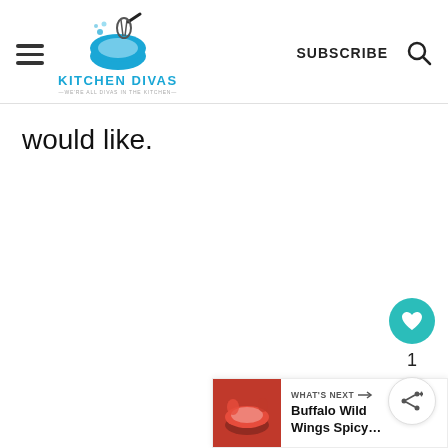Kitchen Divas — We're all divas in the kitchen — SUBSCRIBE
would like.
[Figure (other): Heart/like button (teal circle with white heart icon) with count 1 below, and a share icon button below that]
[Figure (other): What's Next banner with thumbnail image of Buffalo Wild Wings sauce bowl, label 'WHAT'S NEXT' with arrow, and title 'Buffalo Wild Wings Spicy...']